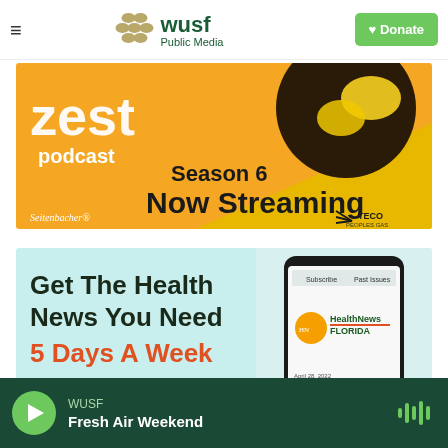WUSF Public Media — Donate
[Figure (illustration): Zest Podcast Season 6 Now Streaming advertisement banner with orange and yellow background, lemons, Seitenbacher and TECO Peoples Gas logos]
[Figure (illustration): Health News Florida advertisement: Get The Health News You Need 5 Days A Week, with smartphone showing HealthNews Florida app]
WUSF — Fresh Air Weekend (audio player bar)